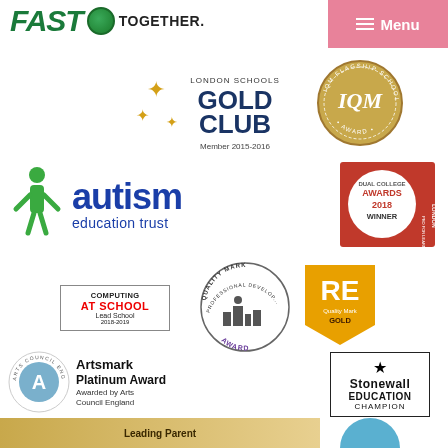[Figure (logo): FAST Together school logo with green text and circle]
[Figure (logo): Pink Menu navigation button]
[Figure (logo): London Schools Gold Club Member 2015-2016 badge with gold stars]
[Figure (logo): IQM Flagship School Award circular gold badge]
[Figure (logo): Autism Education Trust logo with green person figure and blue text]
[Figure (logo): London Awards 2018 Winner red badge]
[Figure (logo): Computing At School Lead School 2018-2019 bordered badge]
[Figure (logo): Quality Mark Professional Development Award circular badge]
[Figure (logo): RE Quality Mark Gold orange pennant badge]
[Figure (logo): Arts Council England Artsmark Platinum Award logo]
[Figure (logo): Stonewall Education Champion bordered badge]
[Figure (logo): Leading Parent Partnership Award partial bar at bottom]